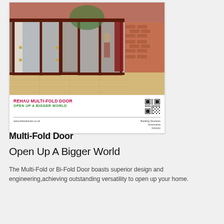[Figure (photo): Photo of REHAU multi-fold/bi-fold doors in dark mahogany color, open outward on a brick house exterior with patio, showing interior conservatory and garden beyond]
REHAU MULTI-FOLD DOOR
OPEN UP A BIGGER WORLD
[Figure (other): QR code]
www.rehauhomes.co.uk
Building Solutions
Automotive
Industry
Multi-Fold Door
Open Up A Bigger World
The Multi-Fold or Bi-Fold Door boasts superior design and engineering,achieving outstanding versatility to open up your home.